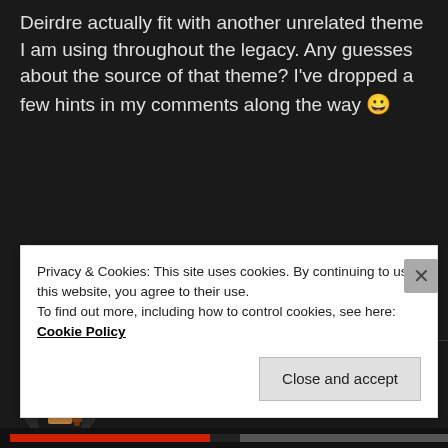Deirdre actually fit with another unrelated theme I am using throughout the legacy. Any guesses about the source of that theme? I've dropped a few hints in my comments along the way 😀
★ Like
Log in to Reply
tipix7
JUNE 2, 2010 AT 11:16 PM
Privacy & Cookies: This site uses cookies. By continuing to use this website, you agree to their use.
To find out more, including how to control cookies, see here: Cookie Policy
Close and accept